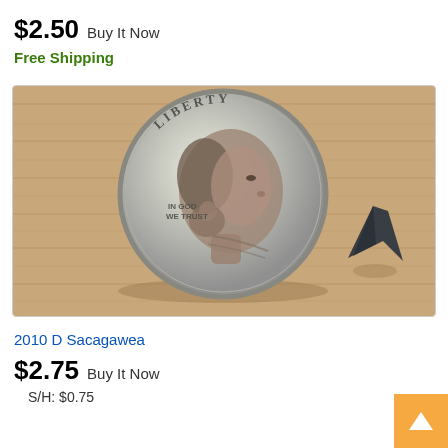$2.50 Buy It Now
Free Shipping
[Figure (photo): A Sacagawea dollar coin (2010 D) showing the Liberty face side with 'IN GOD WE TRUST' inscription, placed against a wooden surface next to a small dark arrowhead-shaped object for size comparison.]
2010 D Sacagawea
$2.75 Buy It Now
S/H: $0.75